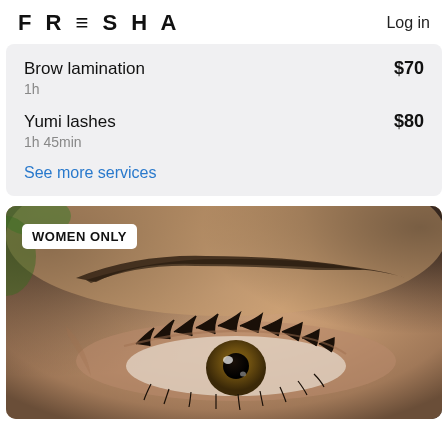FRESHA   Log in
Brow lamination   $70
1h
Yumi lashes   $80
1h 45min
See more services
[Figure (photo): Close-up photo of a woman's eye and groomed eyebrow with a 'WOMEN ONLY' badge overlay in the top-left corner]